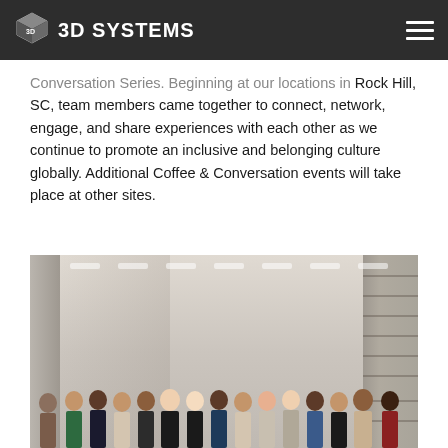3D SYSTEMS
Conversation Series. Beginning at our locations in Rock Hill, SC, team members came together to connect, network, engage, and share experiences with each other as we continue to promote an inclusive and belonging culture globally. Additional Coffee & Conversation events will take place at other sites.
[Figure (photo): Group photo of approximately 15 team members standing together in a warehouse/distribution center aisle, with tall shelving units on either side.]